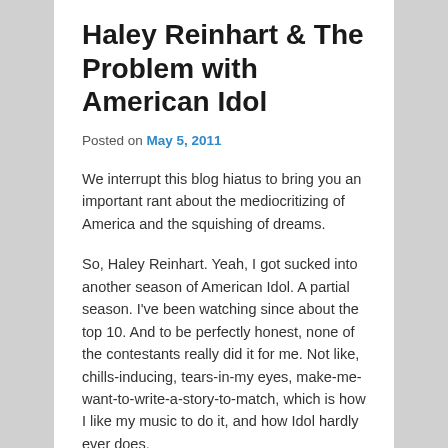Haley Reinhart & The Problem with American Idol
Posted on May 5, 2011
We interrupt this blog hiatus to bring you an important rant about the mediocritizing of America and the squishing of dreams.
So, Haley Reinhart. Yeah, I got sucked into another season of American Idol. A partial season. I've been watching since about the top 10. And to be perfectly honest, none of the contestants really did it for me. Not like, chills-inducing, tears-in-my eyes, make-me-want-to-write-a-story-to-match, which is how I like my music to do it, and how Idol hardly ever does.
Until tonight. This performance, specifically (Haley's second song of the night):